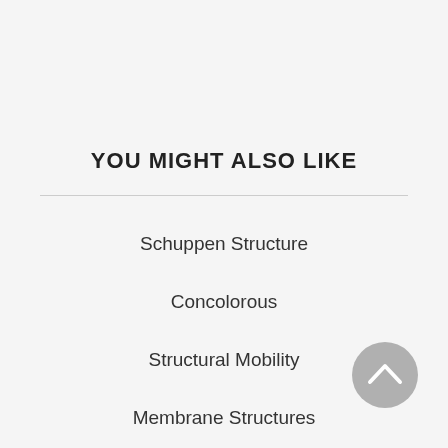YOU MIGHT ALSO LIKE
Schuppen Structure
Concolorous
Structural Mobility
Membrane Structures
Structural Formula